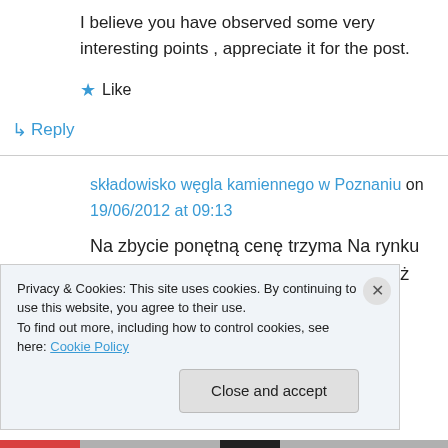I believe you have observed some very interesting points , appreciate it for the post.
★ Like
↳ Reply
składowisko węgla kamiennego w Poznaniu on 19/06/2012 at 09:13
Na zbycie ponętną cenę trzyma Na rynku wziętą cenę trzyma eko-groszek tudzież węgiel
Privacy & Cookies: This site uses cookies. By continuing to use this website, you agree to their use.
To find out more, including how to control cookies, see here: Cookie Policy
Close and accept